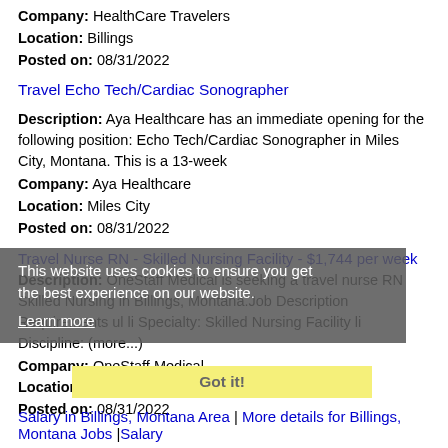Company: HealthCare Travelers
Location: Billings
Posted on: 08/31/2022
Travel Echo Tech/Cardiac Sonographer
Description: Aya Healthcare has an immediate opening for the following position: Echo Tech/Cardiac Sonographer in Miles City, Montana. This is a 13-week
Company: Aya Healthcare
Location: Miles City
Posted on: 08/31/2022
Travel Nurse RN - Skilled Nursing Facility - $1,744 per week
Description: OneStaff Medical is seeking a travel nurse RN Skilled Nursing in Billings, Montana.Job Description Requirements ul li Specialty: Skilled Nursing Facility li Discipline: (more...)
Company: OneStaff Medical
Location: Billings
Posted on: 08/31/2022
This website uses cookies to ensure you get the best experience on our website. Learn more
Got it!
Salary in Billings, Montana Area | More details for Billings, Montana Jobs |Salary